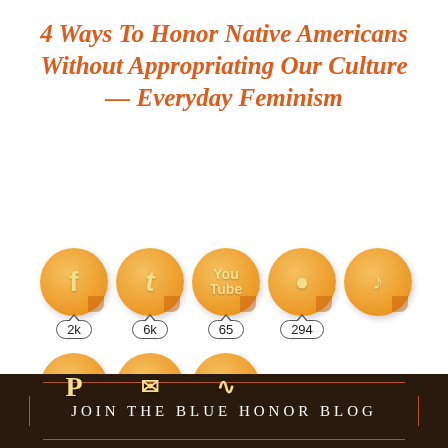4 Ways To Honor Native Americans Without Appropriating Our Culture — Everyday Feminism
[Figure (infographic): Social media share buttons with counts: Facebook 2k, Twitter 6k, YouTube 65, Instagram 294, TikTok (no count), Pinterest 964, Email 496, RSS 20]
JOIN THE BLUE HONOR BLOG